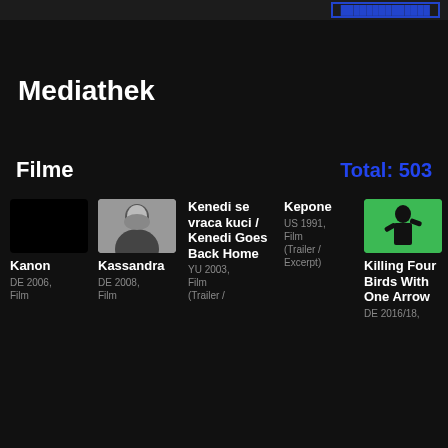Mediathek
Filme
Total: 503
[Figure (screenshot): Black thumbnail for Kanon film]
Kanon
DE 2006,
Film
[Figure (photo): Black and white portrait photo thumbnail for Kassandra]
Kassandra
DE 2008,
Film
Kenedi se vraca kuci / Kenedi Goes Back Home
YU 2003,
Film
(Trailer /
Kepone
US 1991,
Film
(Trailer / Excerpt)
[Figure (photo): Person in black on green background thumbnail for Killing Four Birds With One Arrow]
Killing Four Birds With One Arrow
DE 2016/18,